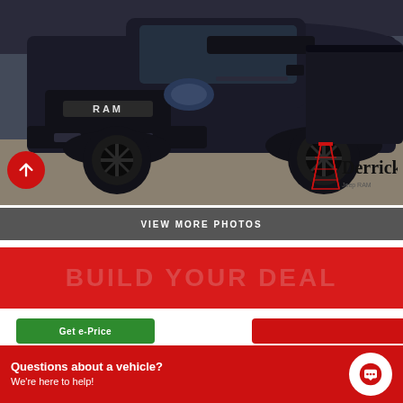[Figure (photo): Black RAM pickup truck (Rebel/Warlock trim) photographed at a dealership lot, front three-quarter view. Derrick Jeep RAM dealer logo visible in lower right of photo.]
VIEW MORE PHOTOS
[Figure (infographic): Red banner with text BUILD YOUR DEAL]
Get e-Price
Questions about a vehicle?
We're here to help!